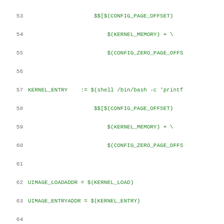[Figure (screenshot): Source code listing (Makefile) showing lines 53-74, with green monospace font on white background. Lines show kernel configuration, UIMAGE variables, and vmlinux build rules.]